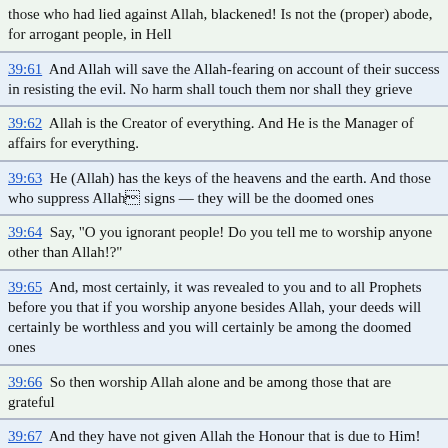those who had lied against Allah, blackened! Is not the (proper) abode, for arrogant people, in Hell
39:61  And Allah will save the Allah-fearing on account of their success in resisting the evil. No harm shall touch them nor shall they grieve
39:62  Allah is the Creator of everything. And He is the Manager of affairs for everything.
39:63  He (Allah) has the keys of the heavens and the earth. And those who suppress Allah6 signs — they will be the doomed ones
39:64  Say, "O you ignorant people! Do you tell me to worship anyone other than Allah!?"
39:65  And, most certainly, it was revealed to you and to all Prophets before you that if you worship anyone besides Allah, your deeds will certainly be worthless and you will certainly be among the doomed ones
39:66  So then worship Allah alone and be among those that are grateful
39:67  And they have not given Allah the Honour that is due to Him! On the Day of Resurrection the entire earth will be in His grasp, and the heavens shall be folded up in His Right Hand. Glorified and Exalted is He from all that they worship besides Him